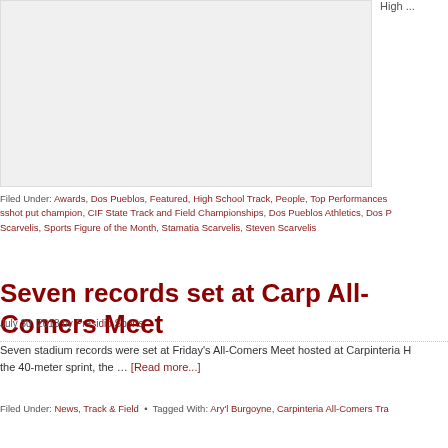[Figure (photo): Gray placeholder image area for an article photo]
High ...
Filed Under: Awards, Dos Pueblos, Featured, High School Track, People, Top Performances, sshot put champion, CIF State Track and Field Championships, Dos Pueblos Athletics, Dos P Scarvelis, Sports Figure of the Month, Stamatia Scarvelis, Steven Scarvelis
Seven records set at Carp All-Comers Meet
July 30, 2013 by Presidio Sports
Seven stadium records were set at Friday's All-Comers Meet hosted at Carpinteria H the 40-meter sprint, the … [Read more...]
Filed Under: News, Track & Field • Tagged With: Ary'l Burgoyne, Carpinteria All-Comers Tra